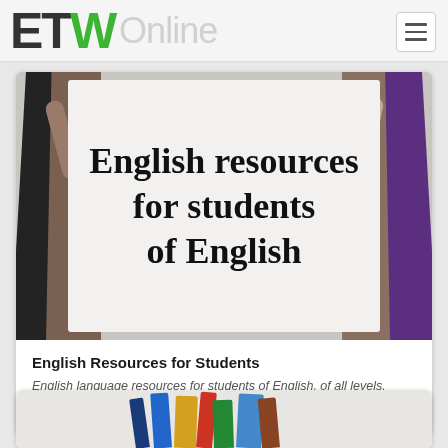[Figure (screenshot): ETW Online logo — letters E, T in dark grey/black, W in green, followed by faded grey text 'Online']
[Figure (photo): Students holding a large white sign reading 'English resources for students of English' in handwritten font. People visible on both sides holding the sign.]
English Resources for Students
English language resources for students of English, of all levels. Exercises, self-study, grammar guides, exam practice.
[Figure (photo): Partial view of a stack of colourful books]